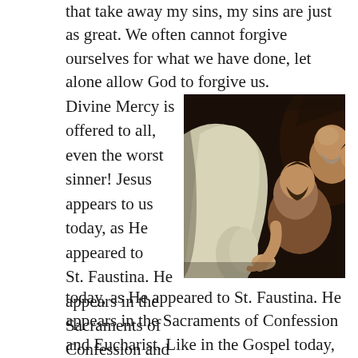that take away my sins, my sins are just as great. We often cannot forgive ourselves for what we have done, let alone allow God to forgive us.
Divine Mercy is offered to all, even the worst sinner! Jesus appears to us today, as He appeared to St. Faustina. He appears in the Sacraments of Confession and Eucharist. Like in the Gospel today, Christ shows us His wounds. He
[Figure (photo): Caravaggio's painting 'The Incredulity of Saint Thomas' showing Jesus guiding Thomas's finger into his wound, with two other apostles looking on, dark chiaroscuro background.]